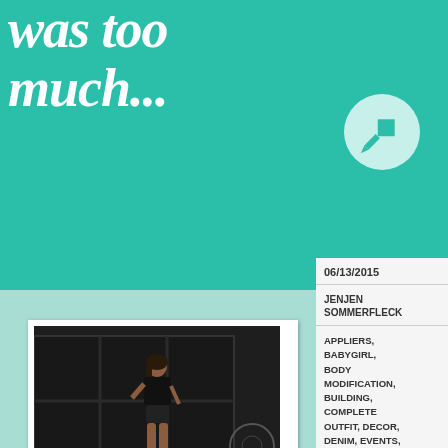was too much...
[Figure (illustration): Pin/thumbtack icon in a light mint circle on teal background, top right sidebar]
06/13/2015
JENJEN SOMMERFLECK
APPLIERS, BABYGIRL, BODY MODIFICATION, BUILDING, COMPLETE OUTFIT, DECOR, DENIM, EVENTS, EXPLORING, FAMILY, FANTASY, FASHION, FURNITURE, GACHA, HAIR, HOME AND GARDEN, HOUSES, JEWELRY, LAMP,
[Figure (photo): Polaroid-style photo of a woman in a black outfit standing in a dark room with a large window; polaroid frame with caption 'Goodbye was too much...' below]
Goodbye was too much...
Lyricism